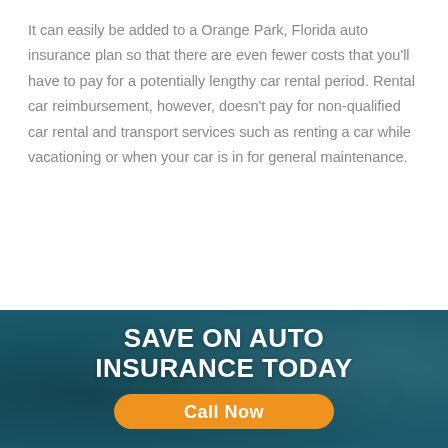It can easily be added to a Orange Park, Florida auto insurance plan so that there are even fewer costs that you'll have to pay for a potentially lengthy car rental period. Rental car reimbursement, however, doesn't pay for non-qualified car rental and transport services such as renting a car while vacationing or when your car is in for general maintenance.
[Figure (infographic): Dark teal banner with a blurred background image of a businessman holding a car, overlaid with bold white text 'SAVE ON AUTO INSURANCE TODAY' and an orange 'Call Now' button.]